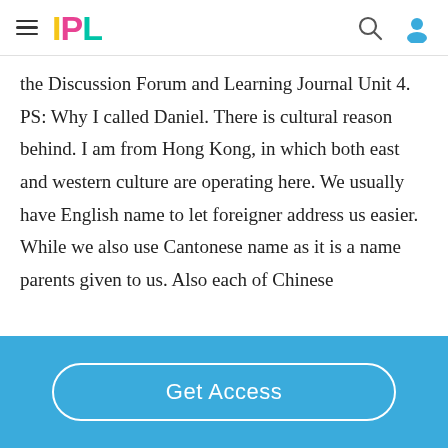IPL
the Discussion Forum and Learning Journal Unit 4. PS: Why I called Daniel. There is cultural reason behind. I am from Hong Kong, in which both east and western culture are operating here. We usually have English name to let foreigner address us easier. While we also use Cantonese name as it is a name parents given to us. Also each of Chinese
Get Access